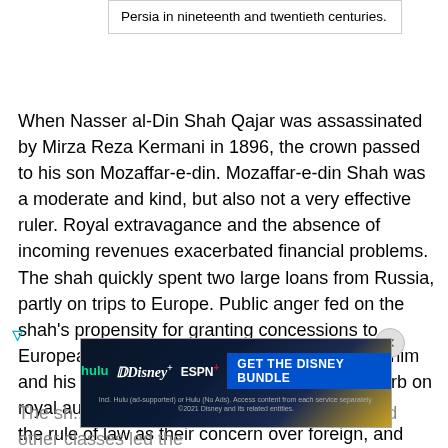Persia in nineteenth and twentieth centuries.
When Nasser al-Din Shah Qajar was assassinated by Mirza Reza Kermani in 1896, the crown passed to his son Mozaffar-e-din. Mozaffar-e-din Shah was a moderate and kind, but also not a very effective ruler. Royal extravagance and the absence of incoming revenues exacerbated financial problems. The shah quickly spent two large loans from Russia, partly on trips to Europe. Public anger fed on the shah's propensity for granting concessions to Europeans in return for generous payments to him and his officials. People began to demand a curb on royal authority and the establishment of the rule of law as their concern over foreign, and especially Russian, influence grew.
The sh... ous establishment, the merchants, and other classes led the...